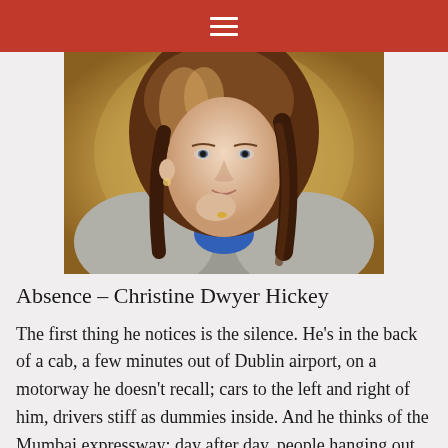☰
[Figure (photo): Portrait photograph of Christine Dwyer Hickey, a woman with shoulder-length dark auburn hair, light eyes, wearing a grey jacket over a blue top. She is resting her chin on her hand and smiling slightly. Background is blurred warm golden tones.]
Absence – Christine Dwyer Hickey
The first thing he notices is the silence. He's in the back of a cab, a few minutes out of Dublin airport, on a motorway he doesn't recall; cars to the left and right of him, drivers stiff as dummies inside. And he thinks of the Mumbai expressway: day after day, people hanging out of windows, exchanging complaints or pleading with the sky. The outrage of honking horns. And the way, for all